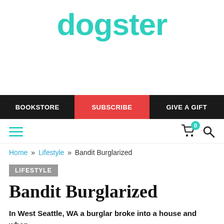dogster
[Figure (other): Navigation bar with BOOKSTORE, SUBSCRIBE (red), GIVE A GIFT links on dark background]
[Figure (other): Toolbar with hamburger menu icon (teal), cart icon with badge 0, and search icon]
Home » Lifestyle » Bandit Burglarized
LIFESTYLE
Bandit Burglarized
In West Seattle, WA a burglar broke into a house and when